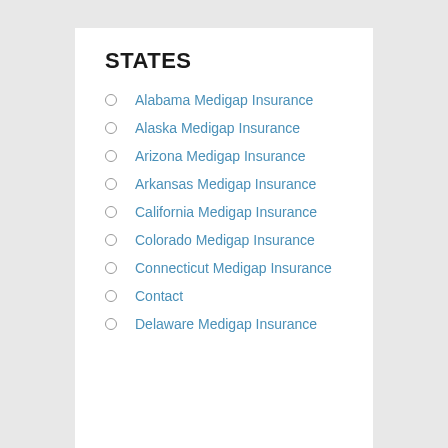STATES
Alabama Medigap Insurance
Alaska Medigap Insurance
Arizona Medigap Insurance
Arkansas Medigap Insurance
California Medigap Insurance
Colorado Medigap Insurance
Connecticut Medigap Insurance
Contact
Delaware Medigap Insurance